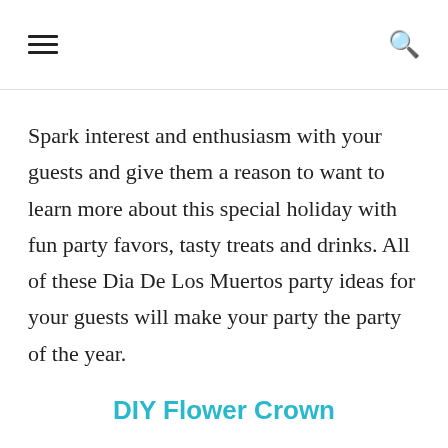≡  🔍
Spark interest and enthusiasm with your guests and give them a reason to want to learn more about this special holiday with fun party favors, tasty treats and drinks. All of these Dia De Los Muertos party ideas for your guests will make your party the party of the year.
DIY Flower Crown